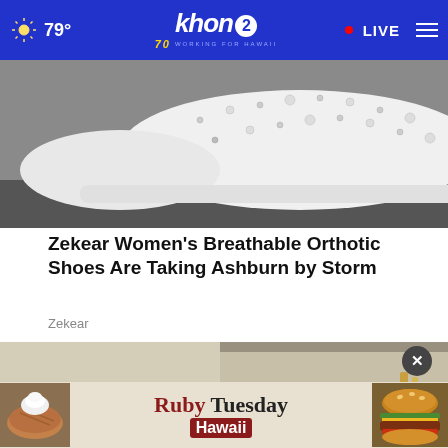79° khon2 WORKING FOR HAWAII • LIVE
[Figure (photo): Close-up of white studded/rhinestone knit sneakers on pavement]
Zekear Women's Breathable Orthotic Shoes Are Taking Ashburn by Storm
Zekear
[Figure (photo): Close-up of beige slip-on orthotic shoes with decorative stitching, worn with white pants]
[Figure (photo): Ruby Tuesday Hawaii advertisement banner showing waffles with whipped cream and a burger]